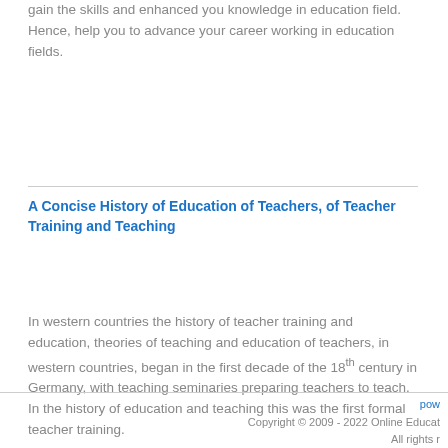gain the skills and enhanced you knowledge in education field. Hence, help you to advance your career working in education fields.
A Concise History of Education of Teachers, of Teacher Training and Teaching
In western countries the history of teacher training and education, theories of teaching and education of teachers, in western countries, began in the first decade of the 18th century in Germany, with teaching seminaries preparing teachers to teach. In the history of education and teaching this was the first formal teacher training.
pow Copyright © 2009 - 2022 Online Educat All rights r